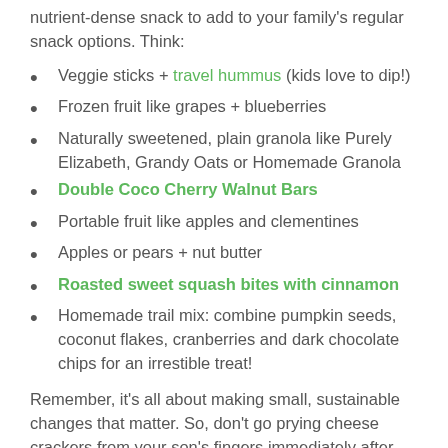nutrient-dense snack to add to your family's regular snack options. Think:
Veggie sticks + travel hummus (kids love to dip!)
Frozen fruit like grapes + blueberries
Naturally sweetened, plain granola like Purely Elizabeth, Grandy Oats or Homemade Granola
Double Coco Cherry Walnut Bars
Portable fruit like apples and clementines
Apples or pears + nut butter
Roasted sweet squash bites with cinnamon
Homemade trail mix: combine pumpkin seeds, coconut flakes, cranberries and dark chocolate chips for an irrestible treat!
Remember, it's all about making small, sustainable changes that matter. So, don't go prying cheese crackers from your son's fingers immediately after